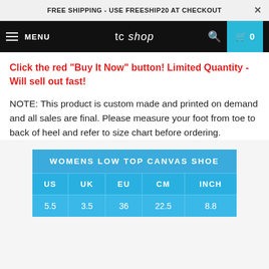FREE SHIPPING - USE FREESHIP20 AT CHECKOUT
MENU  tc shop  0
Click the red "Buy It Now" button! Limited Quantity - Will sell out fast!
NOTE: This product is custom made and printed on demand and all sales are final. Please measure your foot from toe to back of heel and refer to size chart before ordering.
| US | UK | EU | CM | INCH |
| --- | --- | --- | --- | --- |
| 5.5 | 3.5 | 36 | 22.5 | 8.8 |